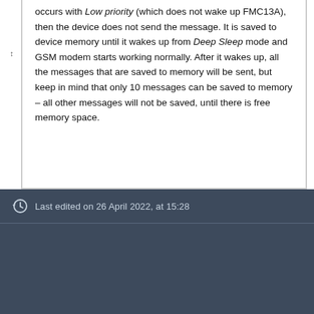occurs with Low priority (which does not wake up FMC13A), then the device does not send the message. It is saved to device memory until it wakes up from Deep Sleep mode and GSM modem starts working normally. After it wakes up, all the messages that are saved to memory will be sent, but keep in mind that only 10 messages can be saved to memory – all other messages will not be saved, until there is free memory space.
Last edited on 26 April 2022, at 15:28
Wiki Knowledge Base | Teltonika GPS
Privacy policy • Desktop